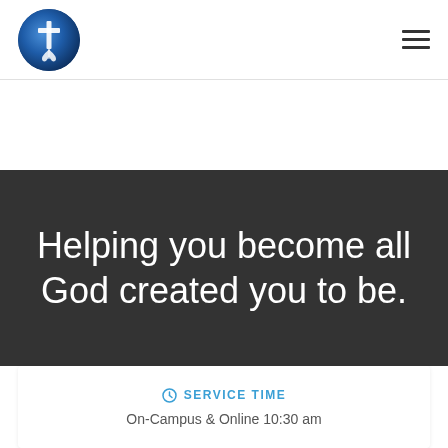[Figure (logo): Circular blue church logo with cross and fleur-de-lis design in white]
Helping you become all God created you to be.
SERVICE TIME
On-Campus & Online 10:30 am